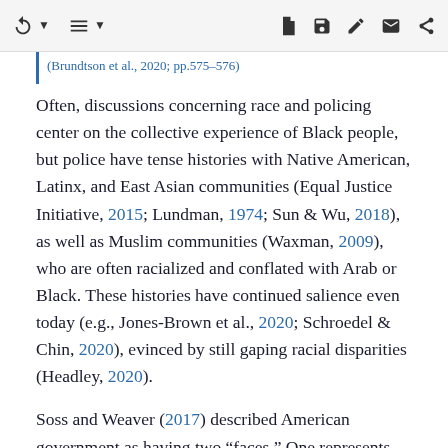navigation and toolbar icons
(Brundtson et al., 2020; pp.575-576)
Often, discussions concerning race and policing center on the collective experience of Black people, but police have tense histories with Native American, Latinx, and East Asian communities (Equal Justice Initiative, 2015; Lundman, 1974; Sun & Wu, 2018), as well as Muslim communities (Waxman, 2009), who are often racialized and conflated with Arab or Black. These histories have continued salience even today (e.g., Jones-Brown et al., 2020; Schroedel & Chin, 2020), evinced by still gaping racial disparities (Headley, 2020).
Soss and Weaver (2017) described American government as having two “faces.” One represents